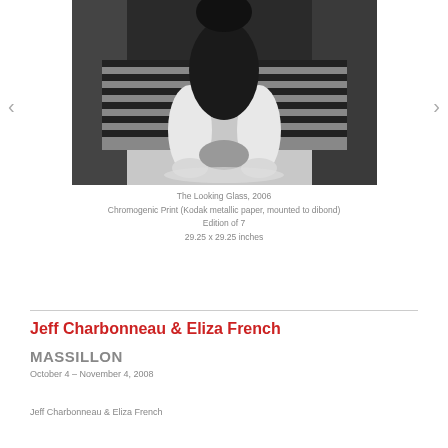[Figure (photo): Black and white photograph of a person sitting on the floor with knees drawn up, wearing a striped skirt/dress, with legs and feet visible in the foreground]
The Looking Glass, 2006
Chromogenic Print (Kodak metallic paper, mounted to dibond)
Edition of 7
29.25 x 29.25 inches
Jeff Charbonneau & Eliza French
MASSILLON
October 4 – November 4, 2008
Jeff Charbonneau & Eliza French